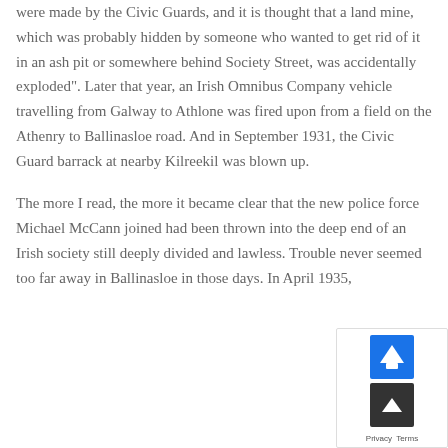were made by the Civic Guards, and it is thought that a land mine, which was probably hidden by someone who wanted to get rid of it in an ash pit or somewhere behind Society Street, was accidentally exploded". Later that year, an Irish Omnibus Company vehicle travelling from Galway to Athlone was fired upon from a field on the Athenry to Ballinasloe road. And in September 1931, the Civic Guard barrack at nearby Kilreekil was blown up.
The more I read, the more it became clear that the new police force Michael McCann joined had been thrown into the deep end of an Irish society still deeply divided and lawless. Trouble never seemed too far away in Ballinasloe in those days. In April 1935,